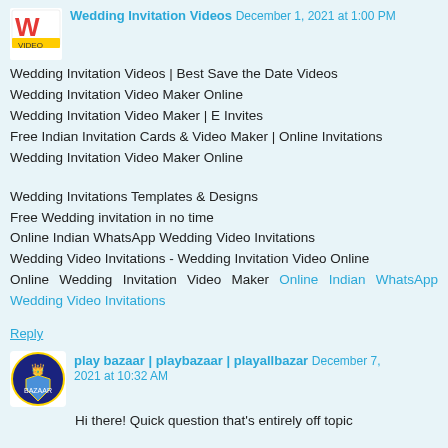Wedding Invitation Videos · December 1, 2021 at 1:00 PM
Wedding Invitation Videos | Best Save the Date Videos
Wedding Invitation Video Maker Online
Wedding Invitation Video Maker | E Invites
Free Indian Invitation Cards & Video Maker | Online Invitations
Wedding Invitation Video Maker Online
Wedding Invitations Templates & Designs
Free Wedding invitation in no time
Online Indian WhatsApp Wedding Video Invitations
Wedding Video Invitations - Wedding Invitation Video Online
Online Wedding Invitation Video Maker Online Indian WhatsApp Wedding Video Invitations
Reply
play bazaar | playbazaar | playallbazar December 7, 2021 at 10:32 AM
Hi there! Quick question that's entirely off topic